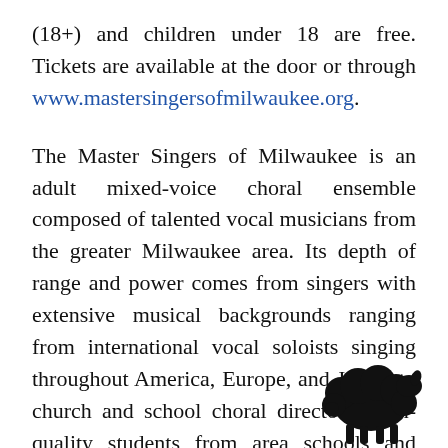(18+) and children under 18 are free. Tickets are available at the door or through www.mastersingersofmilwaukee.org.
The Master Singers of Milwaukee is an adult mixed-voice choral ensemble composed of talented vocal musicians from the greater Milwaukee area. Its depth of range and power comes from singers with extensive musical backgrounds ranging from international vocal soloists singing throughout America, Europe, and Japan, to church and school choral directors, high-quality students from area schools and serious amateur musicians. The Master Singers of Milwaukee celebrates a passion for vocal artistry by exploring the dimensions of choral
[Figure (illustration): Small black silhouette icon of a sheep facing right, positioned in the bottom-right area of the page.]